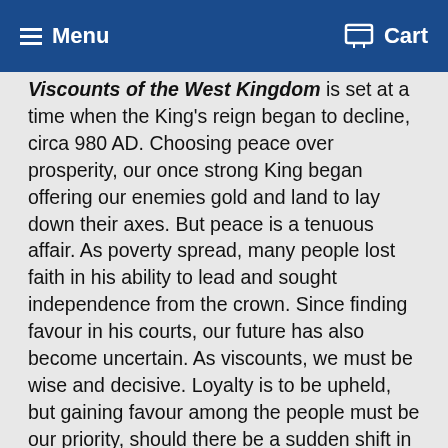Menu   Cart
Viscounts of the West Kingdom is set at a time when the King's reign began to decline, circa 980 AD. Choosing peace over prosperity, our once strong King began offering our enemies gold and land to lay down their axes. But peace is a tenuous affair. As poverty spread, many people lost faith in his ability to lead and sought independence from the crown. Since finding favour in his courts, our future has also become uncertain. As viscounts, we must be wise and decisive. Loyalty is to be upheld, but gaining favour among the people must be our priority, should there be a sudden shift in power.
The aim of Viscounts of the West Kingdom is to be the player with the most victory points (VP) at game's end. Points are gained by constructing buildings, writing manuscripts, working in the castle and acquiring deeds from vassals. Players begin with a handful of troops, followers and silver, though these are not easily replenished.